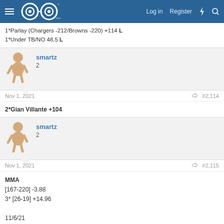GoG.com — Log in | Register
1*Parlay (Chargers -212/Browns -220) +114 L
1*Under TB/NO 48.5 L
smartz
2
Nov 1, 2021   #2,114
2*Gian Villante +104
smartz
2
Nov 1, 2021   #2,115
MMA
[167-220] -3.88
3* [26-19] +14.96

11/6/21